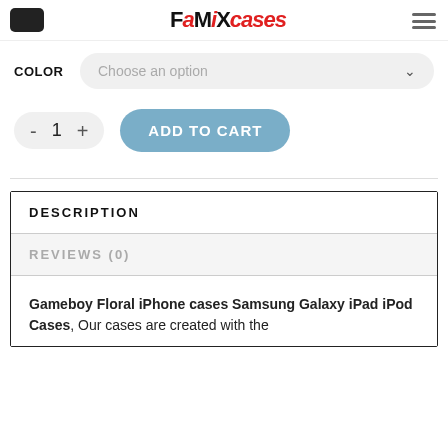FaMiXcases
COLOR  Choose an option
- 1 +  ADD TO CART
DESCRIPTION
REVIEWS (0)
Gameboy Floral iPhone cases Samsung Galaxy iPad iPod Cases, Our cases are created with the